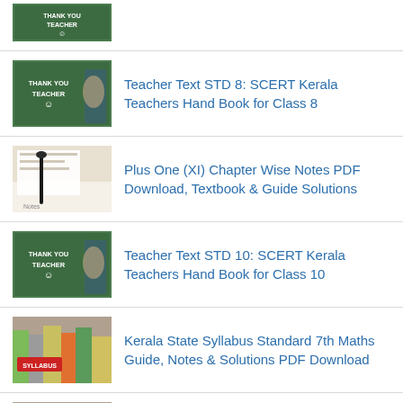[Figure (photo): Partial thumbnail at top of page - green chalkboard with child]
Teacher Text STD 8: SCERT Kerala Teachers Hand Book for Class 8
[Figure (photo): Green chalkboard with 'Thank You Teacher' text and child]
Plus One (XI) Chapter Wise Notes PDF Download, Textbook & Guide Solutions
[Figure (photo): Notebook with pen on top]
Teacher Text STD 10: SCERT Kerala Teachers Hand Book for Class 10
[Figure (photo): Green chalkboard with 'Thank You Teacher' text and child]
Kerala State Syllabus Standard 7th Maths Guide, Notes & Solutions PDF Download
[Figure (photo): Colorful syllabus books stacked - SYLLABUS label visible]
Kerala State Syllabus 6th Standard Guide, Notes & Solutions PDF Download
[Figure (photo): Colorful syllabus books stacked - SYLLABUS label visible]